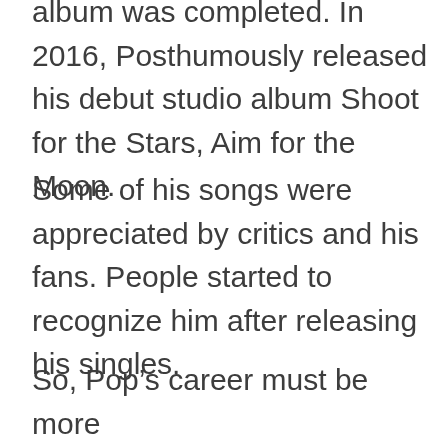album was completed. In 2016, Posthumously released his debut studio album Shoot for the Stars, Aim for the Moon.
Some of his songs were appreciated by critics and his fans. People started to recognize him after releasing his singles.
So, Pop’s career must be more